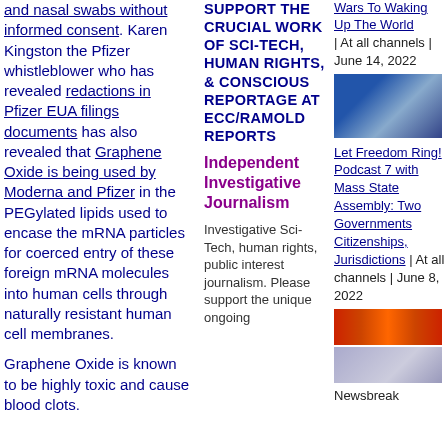and nasal swabs without informed consent. Karen Kingston the Pfizer whistleblower who has revealed redactions in Pfizer EUA filings documents has also revealed that Graphene Oxide is being used by Moderna and Pfizer in the PEGylated lipids used to encase the mRNA particles for coerced entry of these foreign mRNA molecules into human cells through naturally resistant human cell membranes.
Graphene Oxide is known to be highly toxic and cause blood clots.
SUPPORT THE CRUCIAL WORK OF SCI-TECH, HUMAN RIGHTS, & CONSCIOUS REPORTAGE AT ECC/RAMOLD REPORTS
Independent Investigative Journalism
Investigative Sci-Tech, human rights, public interest journalism. Please support the unique ongoing
Wars To Waking Up The World | At all channels | June 14, 2022
[Figure (photo): Thumbnail image showing group of people]
Let Freedom Ring! Podcast 7 with Mass State Assembly: Two Governments Citizenships, Jurisdictions | At all channels | June 8, 2022
[Figure (photo): Bar chart thumbnail image]
[Figure (photo): Portrait thumbnail image]
Newsbreak